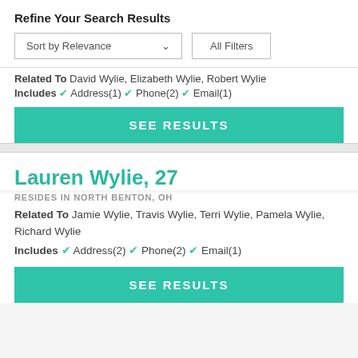Refine Your Search Results
Sort by Relevance  |  All Filters
Related To David Wylie, Elizabeth Wylie, Robert Wylie
Includes ✓ Address(1) ✓ Phone(2) ✓ Email(1)
SEE RESULTS
Lauren Wylie, 27
RESIDES IN NORTH BENTON, OH
Related To Jamie Wylie, Travis Wylie, Terri Wylie, Pamela Wylie, Richard Wylie
Includes ✓ Address(2) ✓ Phone(2) ✓ Email(1)
SEE RESULTS